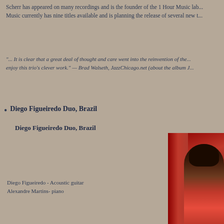Scherr has appeared on many recordings and is the founder of the 1 Hour Music lab... Music currently has nine titles available and is planning the release of several new t...
"... It is clear that a great deal of thought and care went into the reinvention of the... enjoy this trio's clever work." — Brad Walseth, JazzChicago.net (about the album J...)
Diego Figueiredo Duo, Brazil
Diego Figueiredo Duo, Brazil
[Figure (photo): Photo of a person with curly dark hair wearing a red shirt, with red curtains in the background]
Diego Figueiredo - Acoustic guitar
Alexandre  Martins- piano